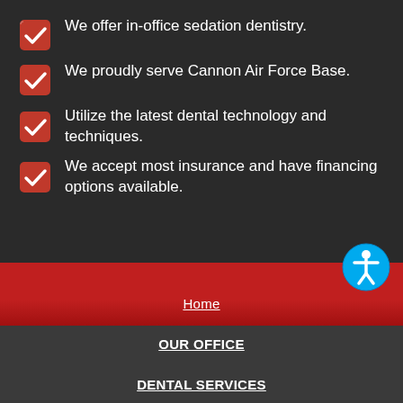We offer in-office sedation dentistry.
We proudly serve Cannon Air Force Base.
Utilize the latest dental technology and techniques.
We accept most insurance and have financing options available.
Home
OUR OFFICE
DENTAL SERVICES
NEW PATIENTS